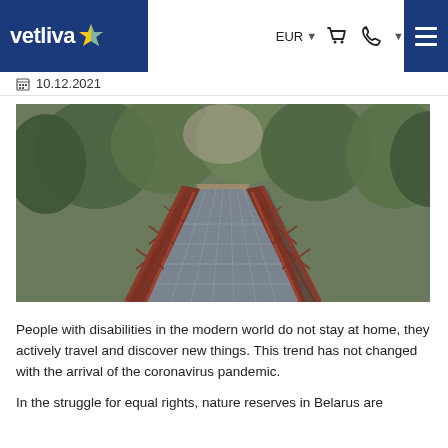vetliva | EUR | [cart] [phone] [menu]
10.12.2021
[Figure (photo): A pedestrian bridge with red/brown metal railings receding into the distance, surrounded by green trees. The bridge deck has a grid-pattern metal grating surface.]
People with disabilities in the modern world do not stay at home, they actively travel and discover new things. This trend has not changed with the arrival of the coronavirus pandemic.
In the struggle for equal rights, nature reserves in Belarus are